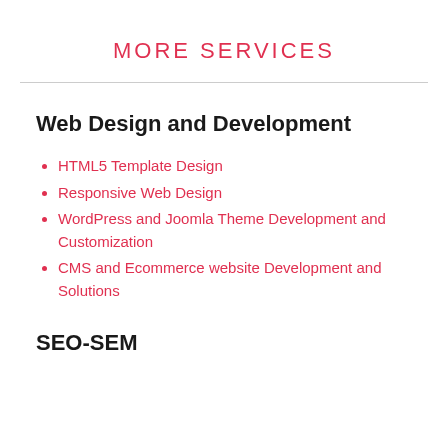MORE SERVICES
Web Design and Development
HTML5 Template Design
Responsive Web Design
WordPress and Joomla Theme Development and Customization
CMS and Ecommerce website Development and Solutions
SEO-SEM